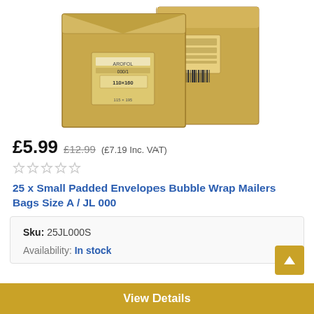[Figure (photo): Product photo of gold/kraft bubble wrap padded envelopes, two envelopes shown overlapping, with visible label/barcode markings on them.]
£5.99  £12.99  (£7.19 Inc. VAT)
[Figure (other): Five empty star rating icons (unrated)]
25 x Small Padded Envelopes Bubble Wrap Mailers Bags Size A / JL 000
| Sku: | 25JL000S |
| Availability: | In stock |
View Details